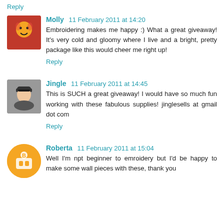Reply
Molly 11 February 2011 at 14:20
Embroidering makes me happy :) What a great giveaway! It's very cold and gloomy where I live and a bright, pretty package like this would cheer me right up!
Reply
Jingle 11 February 2011 at 14:45
This is SUCH a great giveaway! I would have so much fun working with these fabulous supplies! jinglesells at gmail dot com
Reply
Roberta 11 February 2011 at 15:04
Well I'm npt beginner to emroidery but I'd be happy to make some wall pieces with these, thank you